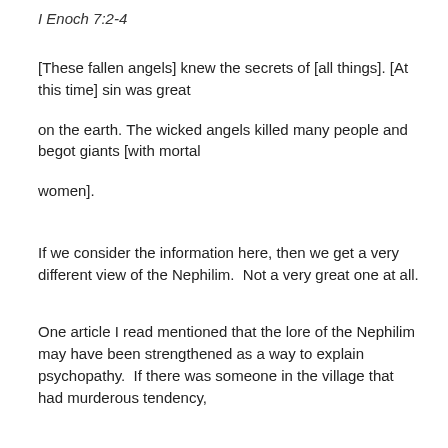I Enoch 7:2-4
[These fallen angels] knew the secrets of [all things]. [At this time] sin was great
on the earth. The wicked angels killed many people and begot giants [with mortal
women].
If we consider the information here, then we get a very different view of the Nephilim.  Not a very great one at all.
One article I read mentioned that the lore of the Nephilim may have been strengthened as a way to explain psychopathy.  If there was someone in the village that had murderous tendency,